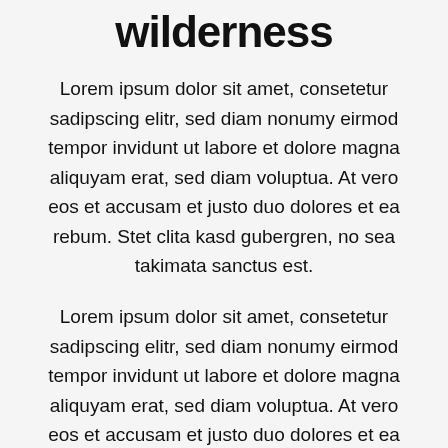wilderness
Lorem ipsum dolor sit amet, consetetur sadipscing elitr, sed diam nonumy eirmod tempor invidunt ut labore et dolore magna aliquyam erat, sed diam voluptua. At vero eos et accusam et justo duo dolores et ea rebum. Stet clita kasd gubergren, no sea takimata sanctus est.
Lorem ipsum dolor sit amet, consetetur sadipscing elitr, sed diam nonumy eirmod tempor invidunt ut labore et dolore magna aliquyam erat, sed diam voluptua. At vero eos et accusam et justo duo dolores et ea rebum. Stet clita kasd gubergren, no sea takimata sanctus est. Lorem ipsum dolor sit